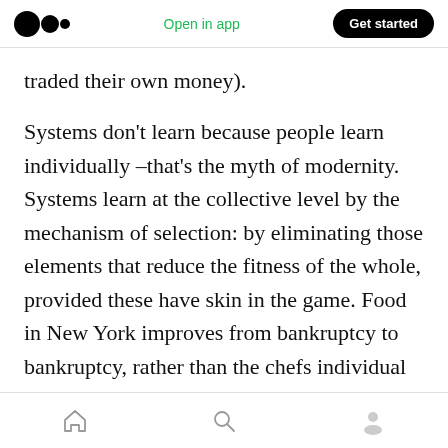Medium logo | Open in app | Get started
traded their own money).
Systems don't learn because people learn individually –that's the myth of modernity. Systems learn at the collective level by the mechanism of selection: by eliminating those elements that reduce the fitness of the whole, provided these have skin in the game. Food in New York improves from bankruptcy to bankruptcy, rather than the chefs individual learning curves –compare the food quality in mortal restaurants to that in an immortal
Home | Search | Profile